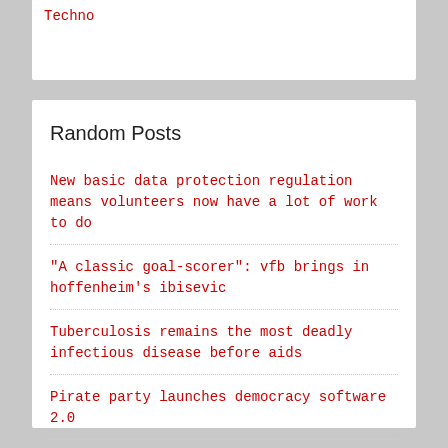Techno
Random Posts
New basic data protection regulation means volunteers now have a lot of work to do
"A classic goal-scorer": vfb brings in hoffenheim's ibisevic
Tuberculosis remains the most deadly infectious disease before aids
Pirate party launches democracy software 2.0
Flensburg traffic offender registry to be de-trumped